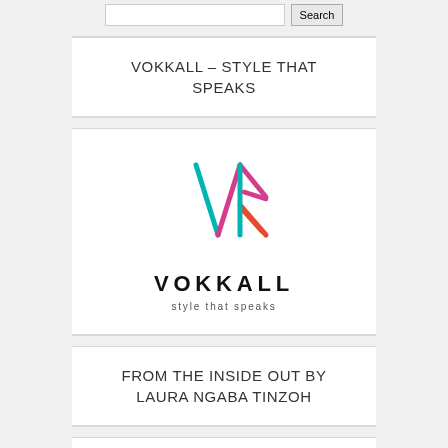Search bar section
VOKKALL – STYLE THAT SPEAKS
[Figure (logo): Vokkall brand logo: an abstract V/K symbol with teal, magenta/pink and orange-red diagonal lines, above the word VOKKALL in bold uppercase letters and the tagline 'style that speaks' in spaced lowercase letters.]
FROM THE INSIDE OUT BY LAURA NGABA TINZOH
[Figure (other): Partial view of two app/widget icons at the bottom: a rounded orange square with white letters 'io' on the left, and an orange/yellow envelope-like shape on the right, both partially cropped.]